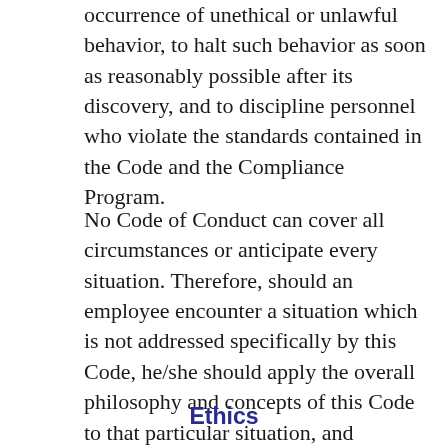occurrence of unethical or unlawful behavior, to halt such behavior as soon as reasonably possible after its discovery, and to discipline personnel who violate the standards contained in the Code and the Compliance Program.
No Code of Conduct can cover all circumstances or anticipate every situation. Therefore, should an employee encounter a situation which is not addressed specifically by this Code, he/she should apply the overall philosophy and concepts of this Code to that particular situation, and observe the ethical standards of honorable people everywhere.
Ethics